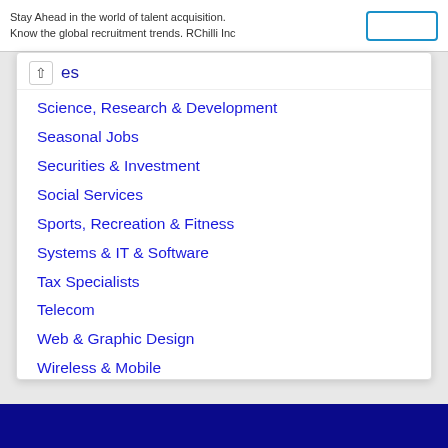Stay Ahead in the world of talent acquisition. Know the global recruitment trends. RChilli Inc
Science, Research & Development
Seasonal Jobs
Securities & Investment
Social Services
Sports, Recreation & Fitness
Systems & IT & Software
Tax Specialists
Telecom
Web & Graphic Design
Wireless & Mobile
Work From Home